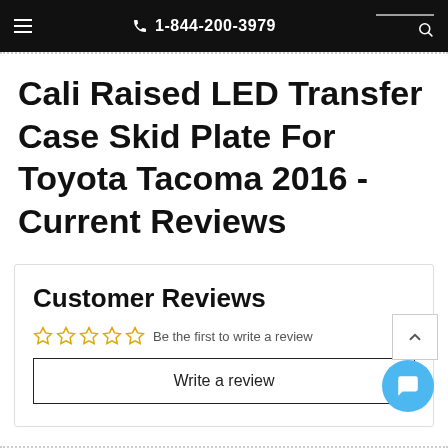≡  1-844-200-3979  🔍
Cali Raised LED Transfer Case Skid Plate For Toyota Tacoma 2016 - Current Reviews
Customer Reviews
☆☆☆☆☆  Be the first to write a review
Write a review